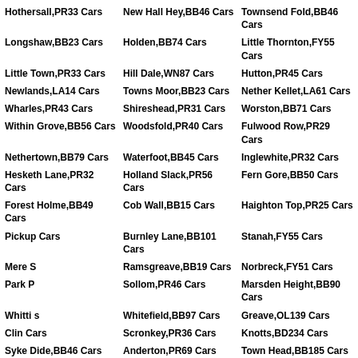Hothersall,PR33 Cars
New Hall Hey,BB46 Cars
Townsend Fold,BB46 Cars
Longshaw,BB23 Cars
Holden,BB74 Cars
Little Thornton,FY55 Cars
Little Town,PR33 Cars
Hill Dale,WN87 Cars
Hutton,PR45 Cars
Newlands,LA14 Cars
Towns Moor,BB23 Cars
Nether Kellet,LA61 Cars
Wharles,PR43 Cars
Shireshead,PR31 Cars
Worston,BB71 Cars
Within Grove,BB56 Cars
Woodsfold,PR40 Cars
Fulwood Row,PR29 Cars
Nethertown,BB79 Cars
Waterfoot,BB45 Cars
Inglewhite,PR32 Cars
Hesketh Lane,PR32 Cars
Holland Slack,PR56 Cars
Fern Gore,BB50 Cars
Forest Holme,BB49 Cars
Cob Wall,BB15 Cars
Haighton Top,PR25 Cars
Pickup Cars
Burnley Lane,BB101 Cars
Stanah,FY55 Cars
Mere S
Ramsgreave,BB19 Cars
Norbreck,FY51 Cars
Park P
Sollom,PR46 Cars
Marsden Height,BB90 Cars
Whitti s
Whitefield,BB97 Cars
Greave,OL139 Cars
Clin Cars
Scronkey,PR36 Cars
Knotts,BD234 Cars
Syke Dide,BB46 Cars
Anderton,PR69 Cars
Town Head,BB185 Cars